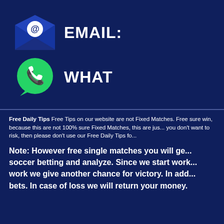[Figure (infographic): Email icon (envelope with @ symbol) and WhatsApp icon (green speech bubble with phone) with labels EMAIL: and WHAT...]
Free Daily Tips Free Tips on our website are not Fixed Matches. Free sure win, because this are not 100% sure Fixed Matches, this are jus... you don't want to risk, then please don't use our Free Daily Tips fo...
Note: However free single matches you will ge... soccer betting and analyze. Since we start work... work we give another chance for victory. In add... bets. In case of loss we will return your money.